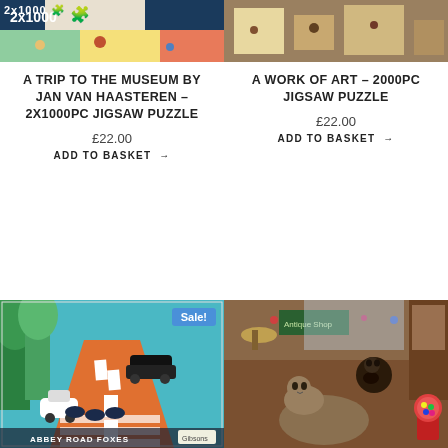[Figure (photo): Jigsaw puzzle box for 'A Trip to the Museum by Jan Van Haasteren – 2x1000pc', showing 2x1000 puzzle with comic scene]
[Figure (photo): Jigsaw puzzle image showing artwork scene for 'A Work of Art – 2000pc Jigsaw Puzzle']
A TRIP TO THE MUSEUM BY JAN VAN HAASTEREN – 2X1000PC JIGSAW PUZZLE
£22.00
ADD TO BASKET →
A WORK OF ART – 2000PC JIGSAW PUZZLE
£22.00
ADD TO BASKET →
[Figure (photo): Abbey Road Foxes jigsaw puzzle box showing illustrated foxes crossing a zebra crossing in style of Abbey Road album cover, with Sale! badge]
[Figure (photo): Jigsaw puzzle scene showing cats and dogs in an antique shop]